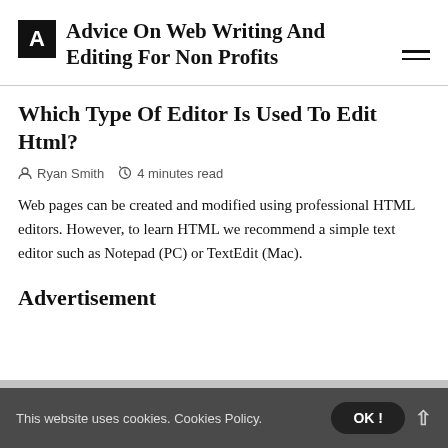Advice On Web Writing And Editing For Non Profits
Which Type Of Editor Is Used To Edit Html?
Ryan Smith  4 minutes read
Web pages can be created and modified using professional HTML editors. However, to learn HTML we recommend a simple text editor such as Notepad (PC) or TextEdit (Mac).
Advertisement
This website uses cookies. Cookies Policy.  OK !